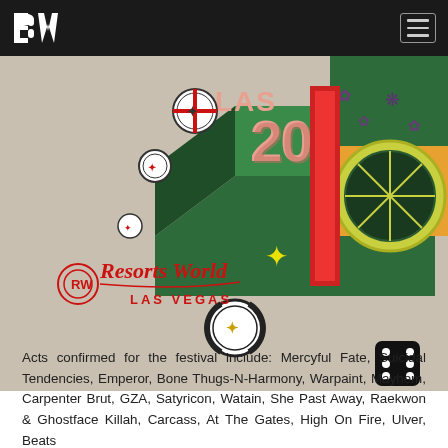BW [logo navigation bar]
[Figure (illustration): Festival promotional artwork showing '2022' in 3D colorful casino-themed lettering with poker chips, dice, and a casino roulette wheel. Resorts World Las Vegas logo visible in red script on a tan/beige background with scattered dice and poker chips.]
Acts confirmed for the festival include: Mercyful Fate, Suicidal Tendencies, Emperor, Bone Thugs-N-Harmony, Warpaint, Mayhem, Carpenter Brut, GZA, Satyricon, Watain, She Past Away, Raekwon & Ghostface Killah, Carcass, At The Gates, High On Fire, Ulver, Beats